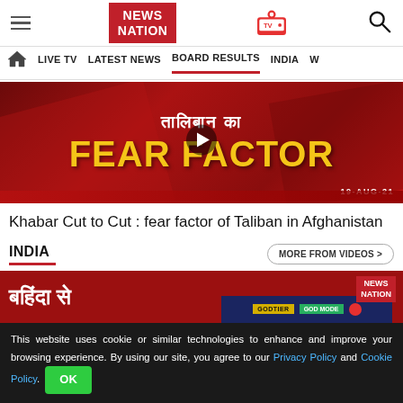NEWS NATION - navigation header with hamburger menu, logo, TV icon, search icon
LIVE TV | LATEST NEWS | BOARD RESULTS | INDIA | W
[Figure (screenshot): Video thumbnail showing Hindi text (तालिबान का) and yellow text FEAR FACTOR on red background, with play button overlay and date 19-AUG-21]
Khabar Cut to Cut : fear factor of Taliban in Afghanistan
INDIA
MORE FROM VIDEOS >
[Figure (screenshot): Bottom news image strip showing Hindi text on red background with News Nation logo and game advertisement overlay]
This website uses cookie or similar technologies to enhance and improve your browsing experience. By using our site, you agree to our Privacy Policy and Cookie Policy. OK